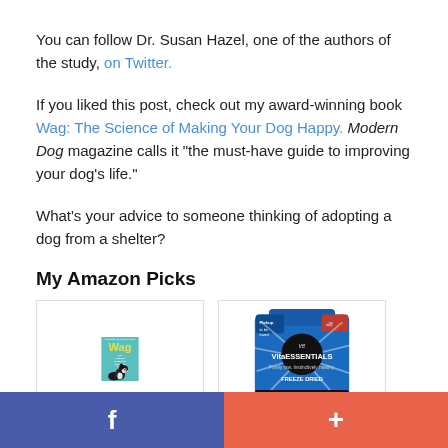You can follow Dr. Susan Hazel, one of the authors of the study, on Twitter.
If you liked this post, check out my award-winning book Wag: The Science of Making Your Dog Happy. Modern Dog magazine calls it "the must-have guide to improving your dog's life."
What's your advice to someone thinking of adopting a dog from a shelter?
My Amazon Picks
[Figure (photo): Book cover of 'Wag: The Science of Making Your Dog Happy' with teal background and yellow title text, showing a dog]
[Figure (photo): Vital Essentials freeze-dried beef minnies dog treats bag with blue packaging]
Facebook share button | Add/plus button